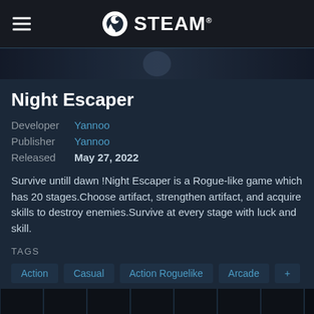STEAM
[Figure (screenshot): Game banner strip showing dark scene with character]
Night Escaper
Developer  Yannoo
Publisher  Yannoo
Released  May 27, 2022
Survive untill dawn !Night Escaper is a Rogue-like game which has 20 stages.Choose artifact, strengthen artifact, and acquire skills to destroy enemies.Survive at every stage with luck and skill.
TAGS
Action
Casual
Action Roguelike
Arcade
+
REVIEWS
No user reviews
[Figure (screenshot): Row of game screenshot thumbnails at bottom]